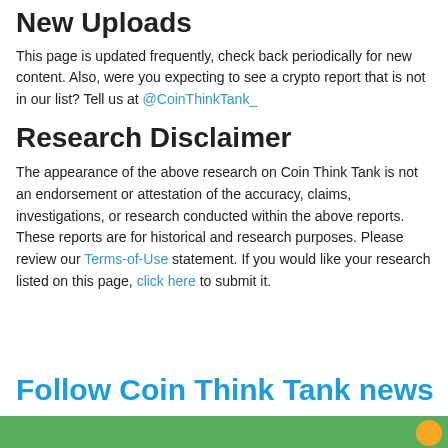New Uploads
This page is updated frequently, check back periodically for new content. Also, were you expecting to see a crypto report that is not in our list? Tell us at @CoinThinkTank_
Research Disclaimer
The appearance of the above research on Coin Think Tank is not an endorsement or attestation of the accuracy, claims, investigations, or research conducted within the above reports. These reports are for historical and research purposes. Please review our Terms-of-Use statement. If you would like your research listed on this page, click here to submit it.
Follow Coin Think Tank news